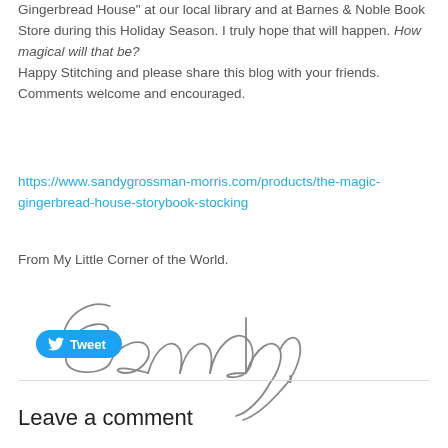Gingerbread House" at our local library and at Barnes & Noble Book Store during this Holiday Season. I truly hope that will happen. How magical will that be? Happy Stitching and please share this blog with your friends. Comments welcome and encouraged.
https://www.sandygrossman-morris.com/products/the-magic-gingerbread-house-storybook-stocking
From My Little Corner of the World.
[Figure (illustration): Handwritten cursive signature reading 'Sandy']
[Figure (other): Twitter Tweet button with bird icon and 'Tweet' text]
Leave a comment